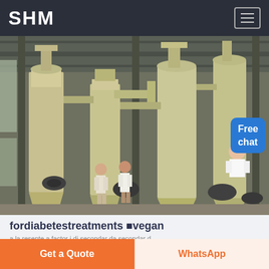SHM
[Figure (photo): Industrial factory floor with large yellow/beige milling or grinding machines and cyclone dust collectors, two workers visible in foreground, steel structure roof visible overhead]
fordiabetestreatments ■vegan
a la resente a factor i di secondar da secondar d
Get a Quote
WhatsApp